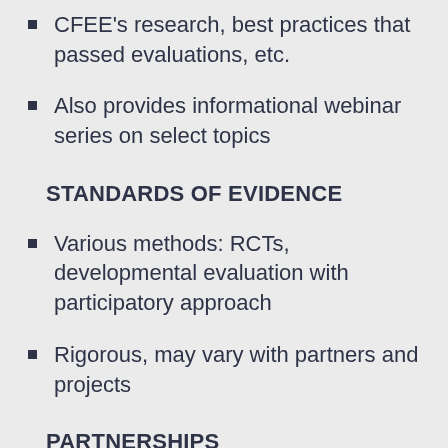CFEE's research, best practices that passed evaluations, etc.
Also provides informational webinar series on select topics
STANDARDS OF EVIDENCE
Various methods: RCTs, developmental evaluation with participatory approach
Rigorous, may vary with partners and projects
PARTNERSHIPS
Projects often have partnerships, uses pilots and experimental